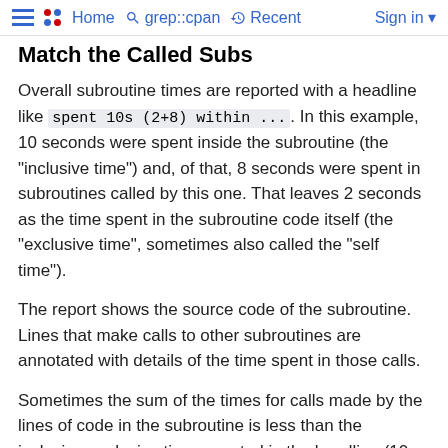Home  grep::cpan  Recent  Sign in
Match the Called Subs
Overall subroutine times are reported with a headline like spent 10s (2+8) within .... In this example, 10 seconds were spent inside the subroutine (the "inclusive time") and, of that, 8 seconds were spent in subroutines called by this one. That leaves 2 seconds as the time spent in the subroutine code itself (the "exclusive time", sometimes also called the "self time").
The report shows the source code of the subroutine. Lines that make calls to other subroutines are annotated with details of the time spent in those calls.
Sometimes the sum of the times for calls made by the lines of code in the subroutine is less than the inclusive-exclusive time reported in the headline (10-